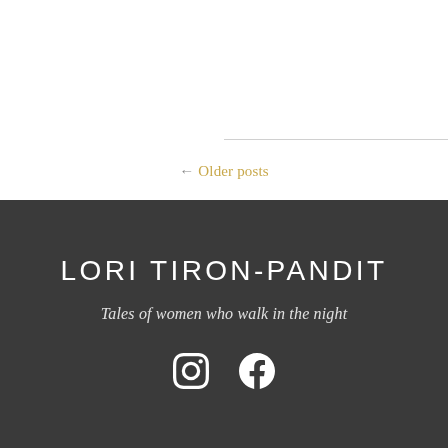← Older posts
LORI TIRON-PANDIT
Tales of women who walk in the night
[Figure (illustration): Instagram and Facebook social media icons in white]